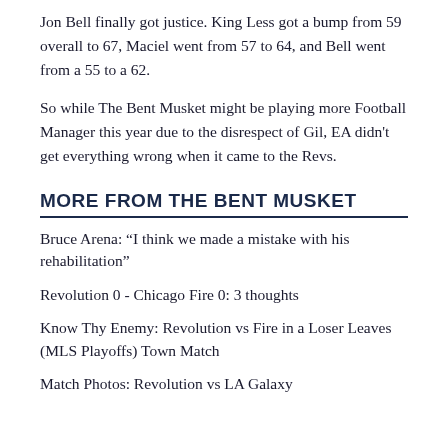Jon Bell finally got justice. King Less got a bump from 59 overall to 67, Maciel went from 57 to 64, and Bell went from a 55 to a 62.
So while The Bent Musket might be playing more Football Manager this year due to the disrespect of Gil, EA didn't get everything wrong when it came to the Revs.
MORE FROM THE BENT MUSKET
Bruce Arena: “I think we made a mistake with his rehabilitation”
Revolution 0 - Chicago Fire 0: 3 thoughts
Know Thy Enemy: Revolution vs Fire in a Loser Leaves (MLS Playoffs) Town Match
Match Photos: Revolution vs LA Galaxy